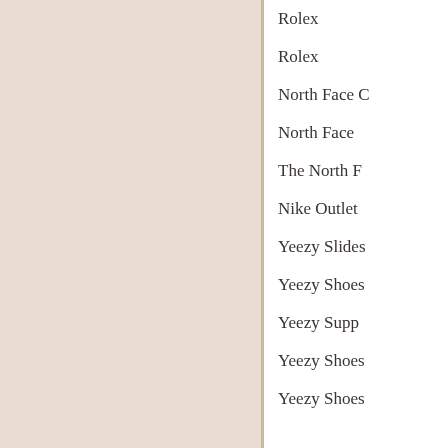Rolex
Rolex
North Face C
North Face
The North F
Nike Outlet
Yeezy Slides
Yeezy Shoes
Yeezy Supp
Yeezy Shoes
Yeezy Shoes